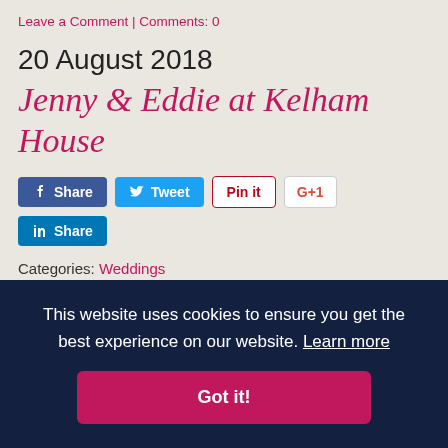Leave a Comment | Comments: 0
20 August 2018
Jenny & Eddie at Kelham House
[Figure (other): Social share buttons: Facebook Share, Twitter Tweet, Pinterest Pin it, Google G+1, LinkedIn Share]
Categories: Weddings
Jenny got in touch with me in January 2017 about her wedding in June 2017, but due to a mix up with an email address, I wasn't able to get in touch with
k to
er
is
the
photos on my website. Fast forward to June 2017
This website uses cookies to ensure you get the best experience on our website. Learn more
Got it!